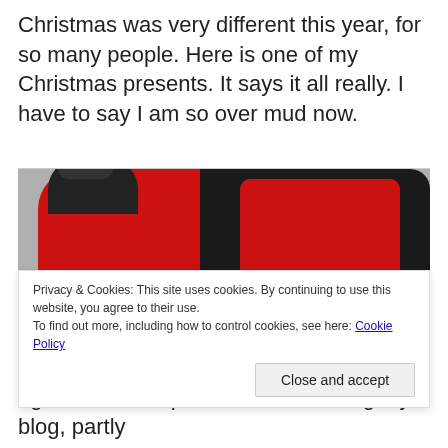Christmas was very different this year, for so many people. Here is one of my Christmas presents. It says it all really. I have to say I am so over mud now.
[Figure (photo): A red and black 8L Mud Daddy portable dog wash canister sitting on a grey countertop.]
Privacy & Cookies: This site uses cookies. By continuing to use this website, you agree to their use.
To find out more, including how to control cookies, see here: Cookie Policy
I get enormous pleasure from writing my blog, partly